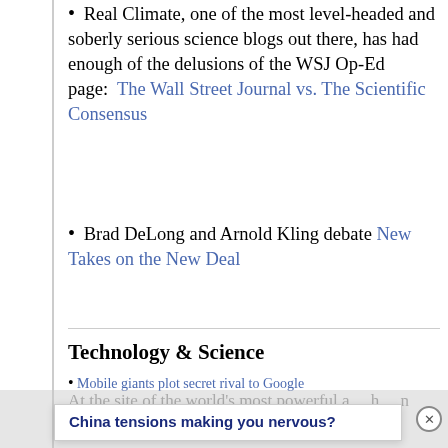Real Climate, one of the most level-headed and soberly serious science blogs out there, has had enough of the delusions of the WSJ Op-Ed page: The Wall Street Journal vs. The Scientific Consensus
Brad DeLong and Arnold Kling debate New Takes on the New Deal
Technology & Science
Mobile giants plot secret rival to Google
A Big Bang… of Innovation: At the site of the world's most powerful a… h… n unexpected—but
China tensions making you nervous?